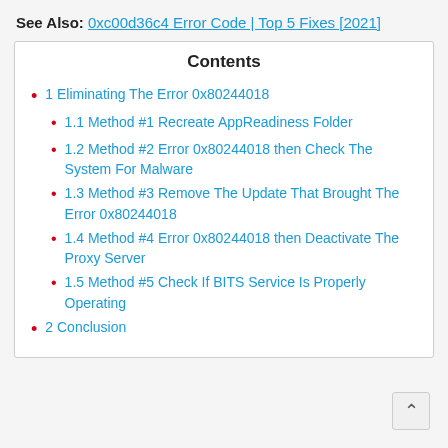See Also: 0xc00d36c4 Error Code | Top 5 Fixes [2021]
Contents
1 Eliminating The Error 0x80244018
1.1 Method #1 Recreate AppReadiness Folder
1.2 Method #2 Error 0x80244018 then Check The System For Malware
1.3 Method #3 Remove The Update That Brought The Error 0x80244018
1.4 Method #4 Error 0x80244018 then Deactivate The Proxy Server
1.5 Method #5 Check If BITS Service Is Properly Operating
2 Conclusion